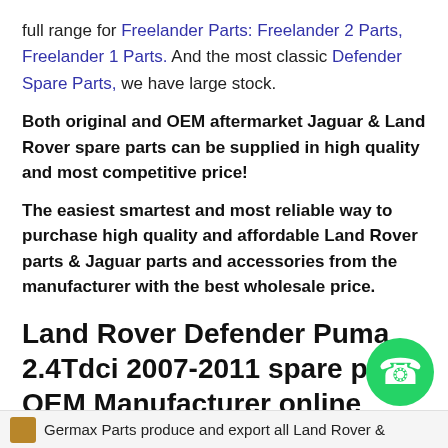full range for Freelander Parts: Freelander 2 Parts, Freelander 1 Parts. And the most classic Defender Spare Parts, we have large stock.
Both original and OEM aftermarket Jaguar & Land Rover spare parts can be supplied in high quality and most competitive price!
The easiest smartest and most reliable way to purchase high quality and affordable Land Rover parts & Jaguar parts and accessories from the manufacturer with the best wholesale price.
Land Rover Defender Puma 2.4Tdci 2007-2011 spare parts OEM Manufacturer online wholesaler
Germax Parts produce and export all Land Rover &